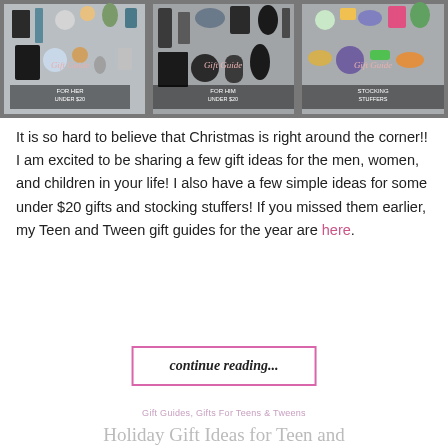[Figure (photo): Collage of three gift guide images showing various gifts under $20 and stocking stuffers]
It is so hard to believe that Christmas is right around the corner!! I am excited to be sharing a few gift ideas for the men, women, and children in your life! I also have a few simple ideas for some under $20 gifts and stocking stuffers! If you missed them earlier, my Teen and Tween gift guides for the year are here.
continue reading...
Gift Guides, Gifts For Teens & Tweens
Holiday Gift Ideas for Teen and